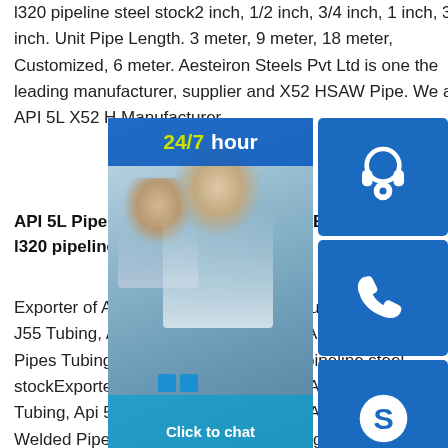l320 pipeline steel stock2 inch, 1/2 inch, 3/4 inch, 1 inch, 3 inch. Unit Pipe Length. 3 meter, 9 meter, 18 meter, Customized, 6 meter. Aesteiron Steels Pvt Ltd is one the leading manufacturer, supplier and X52 HSAW Pipe. We are API 5L X52 H Manufacturer.
API 5L Pipes Tubing - API 5CT Gr Q2 Exporter gb t 9711 l320 pipeline stee
Exporter of API 5L Pipes Tubing - API Tubing, API 5CT Gr J55 Tubing, API 5l Seamless Pipe and Api 5l X46 Spiral W Pipes Tubing - Exporter of Stainless S pipeline steel stockExporter of API 5L Pipes Tubing - API 5CT Gr Q125 Tubing, Api 5l X46 Spiral Welded Pipe, API 5L X42 Spiral Welded Pipe and API 5CT Gr J55 Tubing offered by
API 5L X52 PSL1 DSAW Pipe API 5L Line Pipe manufacturer gb t 9711 l320 pipeline steel stock
[Figure (photo): Customer service representatives in background with 24/7 hour banner, phone icon, headset icon, Skype icon, and Click to chat button overlay on the right side]